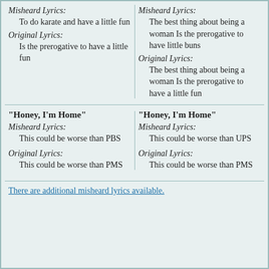Misheard Lyrics: To do karate and have a little fun
Original Lyrics: Is the prerogative to have a little fun
Misheard Lyrics: The best thing about being a woman Is the prerogative to have little buns
Original Lyrics: The best thing about being a woman Is the prerogative to have a little fun
"Honey, I'm Home"
Misheard Lyrics: This could be worse than PBS
Original Lyrics: This could be worse than PMS
"Honey, I'm Home"
Misheard Lyrics: This could be worse than UPS
Original Lyrics: This could be worse than PMS
There are additional misheard lyrics available.